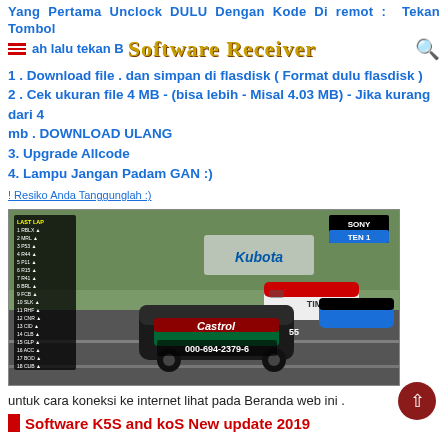Yang Pertama Unclock DULU Dengan Kode Di remot : Tekan Tombol Merah lalu tekan Biru lalu tekan Hijau pada Receiver
Software Receiver
1 . Download file . dan simpan di flasdisk ( Format dulu flasdisk )
2 . Cek ukuran file 4 MB - (bisa lebih - Misal 4.03 MB) - Jika kurang dari 4 mb . DOWNLOAD ULANG
3. Upgrade Allcode
4. Lampu Jangan Padam GAN :)
! Resiko Anda Tanggunglah :)
[Figure (screenshot): Screenshot of a car racing broadcast on SONY TEN 1 channel, showing race cars including a Castrol-sponsored car number 55 on a racing circuit, with a scoreboard overlay on the left and channel branding on the right. An OSD overlay shows the number 000-694-2379-6.]
untuk cara koneksi ke internet lihat pada Beranda web ini .
Software K5S and koS New update 2019